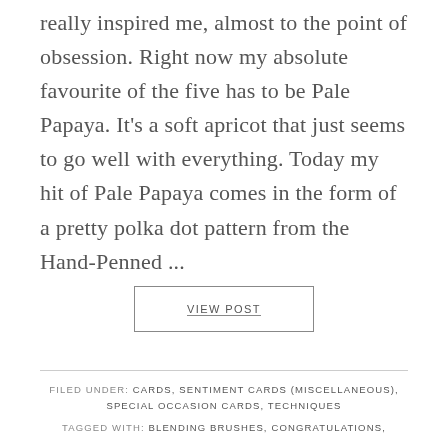really inspired me, almost to the point of obsession. Right now my absolute favourite of the five has to be Pale Papaya. It's a soft apricot that just seems to go well with everything. Today my hit of Pale Papaya comes in the form of a pretty polka dot pattern from the Hand-Penned ...
VIEW POST
FILED UNDER: CARDS, SENTIMENT CARDS (MISCELLANEOUS), SPECIAL OCCASION CARDS, TECHNIQUES
TAGGED WITH: BLENDING BRUSHES, CONGRATULATIONS,